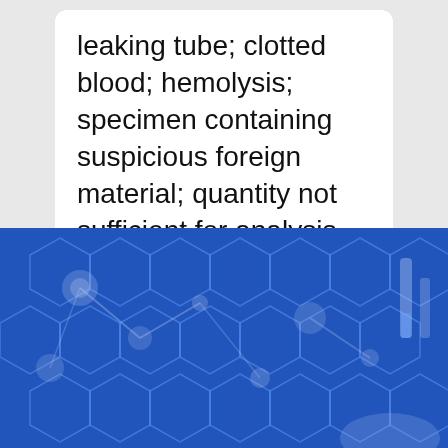leaking tube; clotted blood; hemolysis; specimen containing suspicious foreign material; quantity not sufficient for analysis
[Figure (photo): Blue-tinted laboratory background image with hexagonal molecular structure overlay, lab glassware and scientific equipment visible, researcher in background]